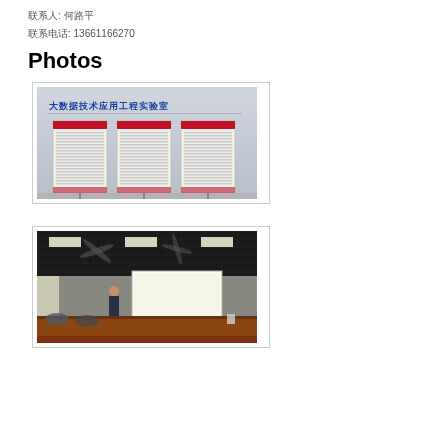联系人: 何路平
联系电话: 13661166270
Photos
[Figure (photo): Three display boards/banners in a laboratory room with Chinese text on the wall reading 大数据技术应用工程实验室]
[Figure (photo): Conference or meeting room with dark grid ceiling, projection screen, a person standing, and a long conference table]